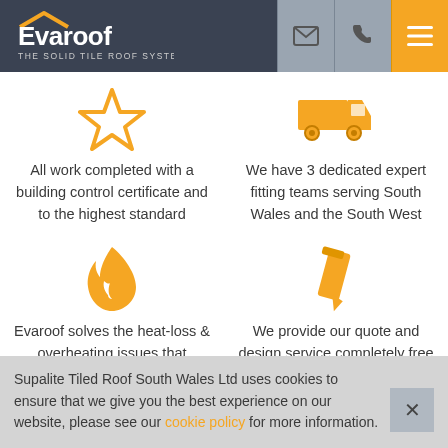[Figure (logo): Evaroof - The Solid Tile Roof System logo with orange chevron]
[Figure (other): Header icons: email envelope, phone handset, hamburger menu on orange background]
[Figure (other): Orange star icon]
All work completed with a building control certificate and to the highest standard
[Figure (other): Orange delivery truck icon]
We have 3 dedicated expert fitting teams serving South Wales and the South West
[Figure (other): Orange flame/fire droplet icon]
Evaroof solves the heat-loss & overheating issues that conservatory owners
[Figure (other): Orange pencil icon]
We provide our quote and design service completely free with no strings
Supalite Tiled Roof South Wales Ltd uses cookies to ensure that we give you the best experience on our website, please see our cookie policy for more information.